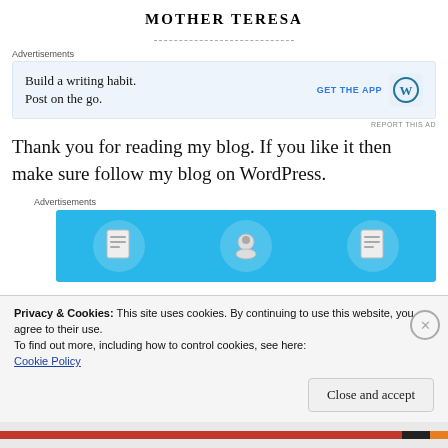MOTHER TERESA
[Figure (other): Horizontal dashed divider line]
Advertisements
[Figure (other): WordPress advertisement banner: 'Build a writing habit. Post on the go.' with GET THE APP button and WordPress logo]
REPORT THIS AD
Thank you for reading my blog. If you like it then make sure follow my blog on WordPress.
Advertisements
[Figure (other): Blue advertisement banner with three circular icons]
Privacy & Cookies: This site uses cookies. By continuing to use this website, you agree to their use.
To find out more, including how to control cookies, see here:
Cookie Policy
Close and accept